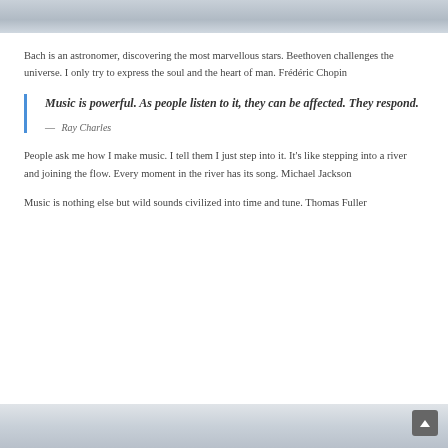[Figure (photo): Top partial image, light grayish-blue tones, appears to be a music or decorative themed photo]
Bach is an astronomer, discovering the most marvellous stars. Beethoven challenges the universe. I only try to express the soul and the heart of man. Frédéric Chopin
Music is powerful. As people listen to it, they can be affected. They respond.
— Ray Charles
People ask me how I make music. I tell them I just step into it. It's like stepping into a river and joining the flow. Every moment in the river has its song. Michael Jackson
Music is nothing else but wild sounds civilized into time and tune. Thomas Fuller
[Figure (photo): Bottom partial image, light grayish tones, appears to be a music or decorative themed photo]